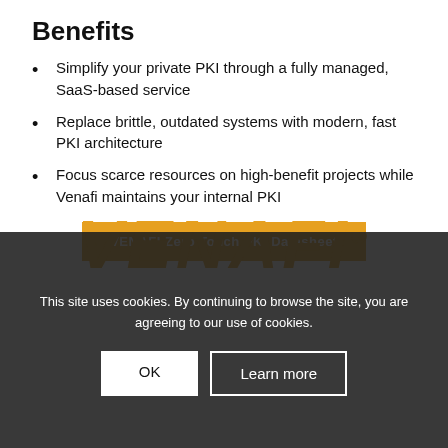Benefits
Simplify your private PKI through a fully managed, SaaS-based service
Replace brittle, outdated systems with modern, fast PKI architecture
Focus scarce resources on high-benefit projects while Venafi maintains your internal PKI
VENAFI Zero Touch PKI Datasheet
[Figure (logo): VENAFI logo in large orange italic bold letters with registered trademark symbol]
This site uses cookies. By continuing to browse the site, you are agreeing to our use of cookies.
OK | Learn more